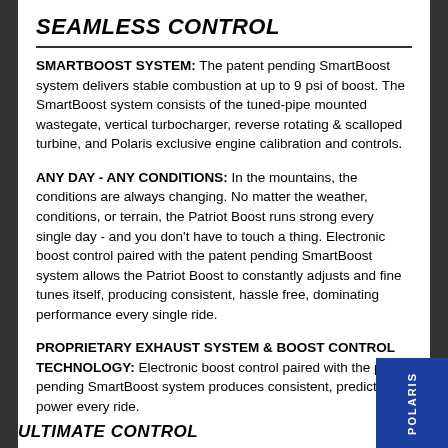SEAMLESS CONTROL
SMARTBOOST SYSTEM: The patent pending SmartBoost system delivers stable combustion at up to 9 psi of boost. The SmartBoost system consists of the tuned-pipe mounted wastegate, vertical turbocharger, reverse rotating & scalloped turbine, and Polaris exclusive engine calibration and controls.
ANY DAY - ANY CONDITIONS: In the mountains, the conditions are always changing. No matter the weather, conditions, or terrain, the Patriot Boost runs strong every single day - and you don't have to touch a thing. Electronic boost control paired with the patent pending SmartBoost system allows the Patriot Boost to constantly adjusts and fine tunes itself, producing consistent, hassle free, dominating performance every single ride.
PROPRIETARY EXHAUST SYSTEM & BOOST CONTROL TECHNOLOGY: Electronic boost control paired with the patent pending SmartBoost system produces consistent, predictable power every ride.
ULTIMATE CONTROL